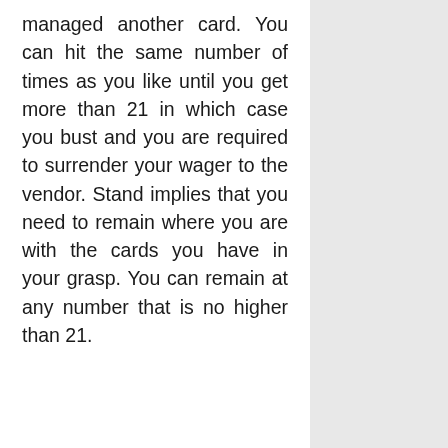managed another card. You can hit the same number of times as you like until you get more than 21 in which case you bust and you are required to surrender your wager to the vendor. Stand implies that you need to remain where you are with the cards you have in your grasp. You can remain at any number that is no higher than 21.
b) A split can occur on the off chance that you got two of